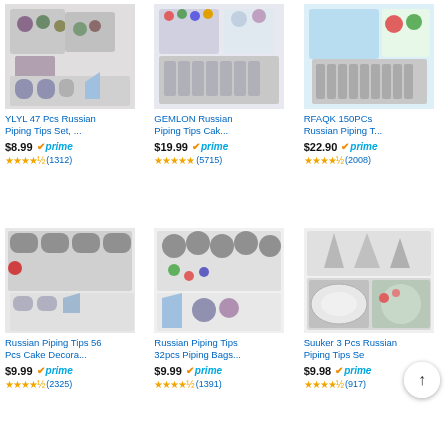[Figure (photo): YLYL 47 Pcs Russian Piping Tips Set product photo]
YLYL 47 Pcs Russian Piping Tips Set, ...
$8.99 prime
★★★★☆ (1312)
[Figure (photo): GEMLON Russian Piping Tips Cake product photo]
GEMLON Russian Piping Tips Cak...
$19.99 prime
★★★★★ (5715)
[Figure (photo): RFAQK 150PCs Russian Piping Tips product photo]
RFAQK 150PCs Russian Piping T...
$22.90 prime
★★★★☆ (2008)
[Figure (photo): Russian Piping Tips 56 Pcs Cake Decorating product photo]
Russian Piping Tips 56 Pcs Cake Decora...
$9.99 prime
★★★★☆ (2325)
[Figure (photo): Russian Piping Tips 32pcs Piping Bags product photo]
Russian Piping Tips 32pcs Piping Bags...
$9.99 prime
★★★★☆ (1391)
[Figure (photo): Suuker 3 Pcs Russian Piping Tips Set product photo]
Suuker 3 Pcs Russian Piping Tips Se...
$9.98 prime
★★★★☆ (917)